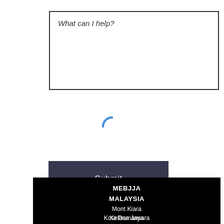[Figure (screenshot): Text area input box with italic placeholder text 'What can I help?']
[Figure (other): Blue loading spinner (partial arc, letter C shape)]
[Figure (screenshot): Dark navy Submit button]
MEBJJA
MALAYSIA
Mont Kiara
Kelana Jaya
Kota Damansara